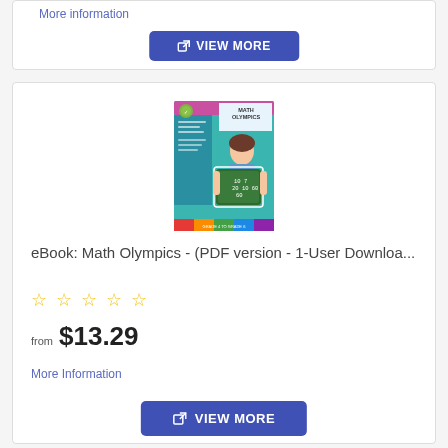More information
VIEW MORE
[Figure (illustration): Cover of eBook: Math Olympics showing a girl holding a green chalkboard with math problems, colorful title at top]
eBook: Math Olympics - (PDF version - 1-User Downloa...
☆ ☆ ☆ ☆ ☆
from $13.29
More Information
VIEW MORE